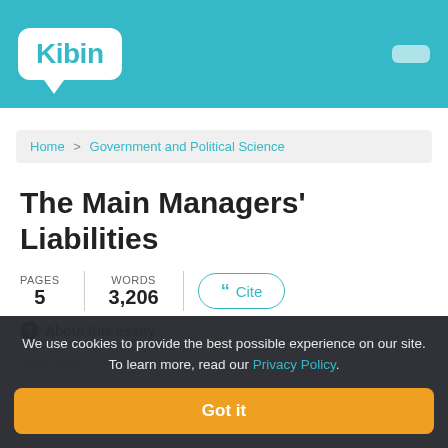Kibin
Home > Government and Political Science
The Main Managers' Liabilities
PAGES 5 | WORDS 3,206
" Cite
About this essay
We use cookies to provide the best possible experience on our site. To learn more, read our Privacy Policy.
Got it